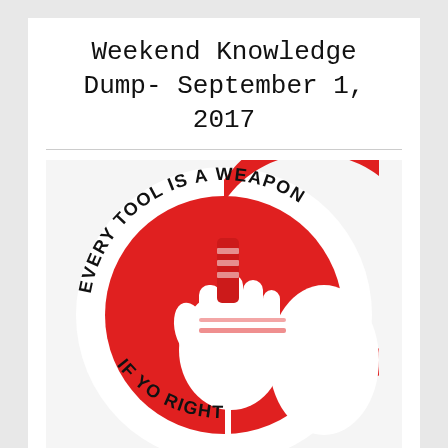Weekend Knowledge Dump- September 1, 2017
[Figure (illustration): Circular logo/sticker illustration with a red circle background and a white fist gripping a screwdriver. Text curved around the top reads 'EVERY TOOL IS A WEAPON' and text curved around the bottom reads 'IF YOU...' and '...RIGHT' in bold black letters.]